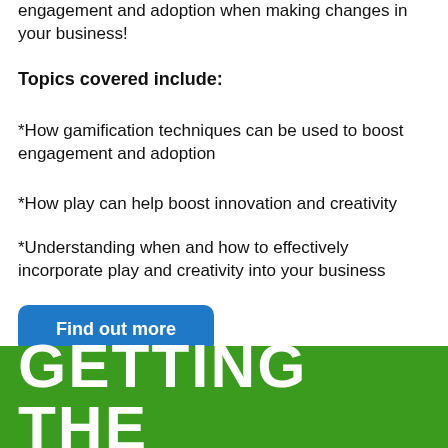engagement and adoption when making changes in your business!
Topics covered include:
*How gamification techniques can be used to boost engagement and adoption
*How play can help boost innovation and creativity
*Understanding when and how to effectively incorporate play and creativity into your business
Find out more
GETTING THE